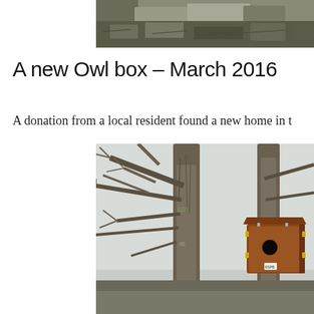[Figure (photo): Partial view of a rocky hillside or stone wall with vegetation, top portion of page]
A new Owl box – March 2016
A donation from a local resident found a new home in t
[Figure (photo): Photograph of a brown wooden owl box mounted high on a tree with bare winter branches against a pale sky]